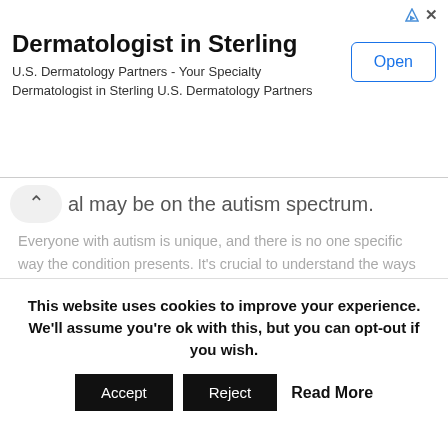[Figure (screenshot): Advertisement banner for Dermatologist in Sterling by U.S. Dermatology Partners, with an Open button]
al may be on the autism spectrum.
Everyone with autism is unique, and there is no one specific way the condition presents. It's crucial to understand the ways different symptoms can present, as stereotypical portrayals of autism have caused many individuals to be misdiagnosed or undiagnosed until adulthood.
Though autism impacts every aspect of an affected individual's day-to-day life, many autistic individuals say their neurodivergence allows them to have a more creative and
This website uses cookies to improve your experience. We'll assume you're ok with this, but you can opt-out if you wish.